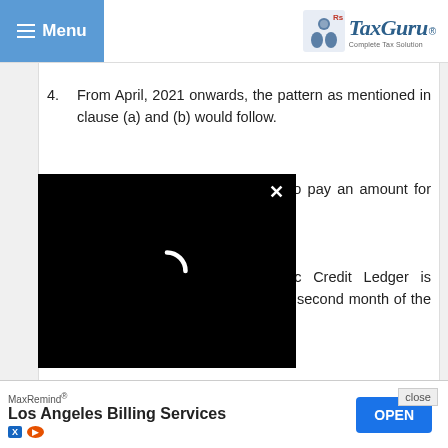Menu | TaxGuru — Complete Tax Solution
4. From April, 2021 onwards, the pattern as mentioned in clause (a) and (b) would follow.
the taxpayers are not required to pay an amount for the first 02
Electronic Cash Ledger / Electronic Credit Ledger is sufficient for tax due for the first/ second month of the quarter; or
[Figure (screenshot): Black video overlay/modal with loading spinner and close (×) button]
[Figure (screenshot): Ad banner: MaxRemind® Los Angeles Billing Services with OPEN button and close link]